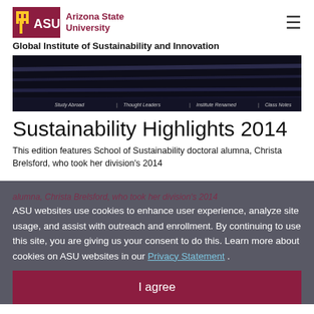[Figure (logo): ASU Arizona State University logo with maroon ASU text and gold fork symbol, followed by 'Arizona State University' text in maroon]
Global Institute of Sustainability and Innovation
[Figure (screenshot): Dark banner image with navigation links: Study Abroad | Thought Leaders | Institute Renamed | Class Notes]
Sustainability Highlights 2014
This edition features School of Sustainability doctoral alumna, Christa Brelsford, who took her division's 2014 American Geophysical Union Outstanding Student Paper Award; highlights from ASU, including the Executive Master of Sustainability Leadership's first cohort; the formation of the Resource Innovation and Solutions Network – a collaboration with the City of Phoenix – and the inauguration of the Sustainability Solutions Festival at ASU.
ASU websites use cookies to enhance user experience, analyze site usage, and assist with outreach and enrollment. By continuing to use this site, you are giving us your consent to do this. Learn more about cookies on ASU websites in our Privacy Statement .
I agree